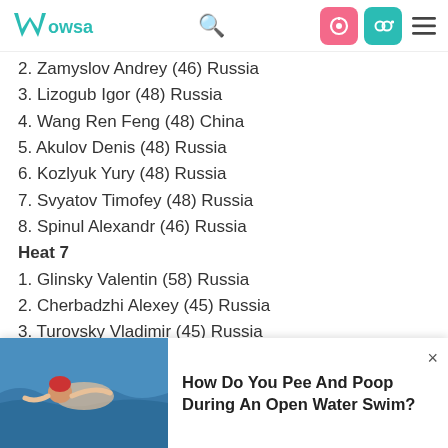WOWSA [navigation bar with search, login icons, and hamburger menu]
2. Zamyslov Andrey (46) Russia
3. Lizogub Igor (48) Russia
4. Wang Ren Feng (48) China
5. Akulov Denis (48) Russia
6. Kozlyuk Yury (48) Russia
7. Svyatov Timofey (48) Russia
8. Spinul Alexandr (46) Russia
Heat 7
1. Glinsky Valentin (58) Russia
2. Cherbadzhi Alexey (45) Russia
3. Turovsky Vladimir (45) Russia
4. Karpunin Igor (45) Russia
5. Mamonov Anton (45) Russia
[Figure (photo): Advertisement banner showing a swimmer in open water with text: How Do You Pee And Poop During An Open Water Swim?]